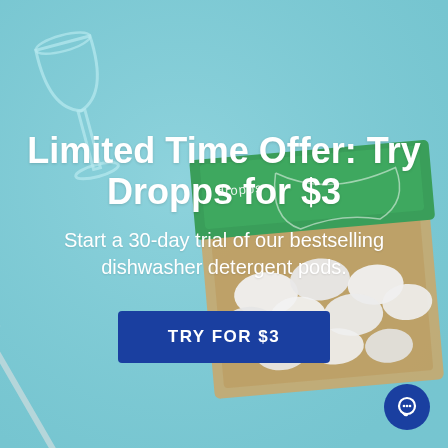[Figure (photo): Light blue background with a wine glass top-left, a fork bottom-left, and an open green Dropps box with white dishwasher pods center-right]
Limited Time Offer: Try Dropps for $3
Start a 30-day trial of our bestselling dishwasher detergent pods.
TRY FOR $3